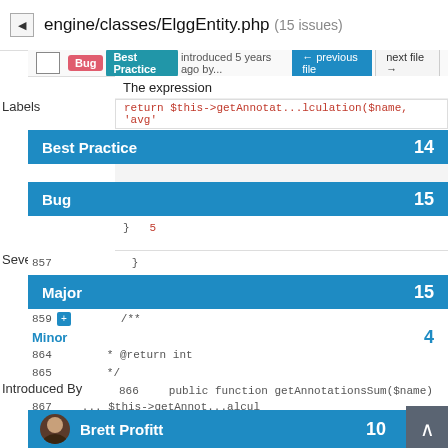engine/classes/ElggEntity.php (15 issues)
Bug | Best Practice introduced 5 years ago by...
← previous file   next file →
The expression
return $this->getAnnotat...lculation($name, 'avg'
Labels
Best Practice   14
Bug   15
Severity
857   }
Major   15
859
/**
Minor   4
864   * @return int
865   */
Introduced By
866   public function getAnnotationsSum($name)
Brett Profitt   10
Jeroen Dalsem   4